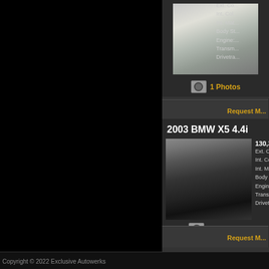[Figure (photo): Silver BMW sedan car photo thumbnail]
1 Photos
Request M...
2003 BMW X5 4.4i
130,300...
Ext. Col...
Int. Col...
Int. Mat...
Body St...
Engine:...
Transm...
Drivetra...
[Figure (photo): Black BMW X5 SUV car photo thumbnail]
23 Photos
Request M...
Copyright © 2022 Exclusive Autowerks